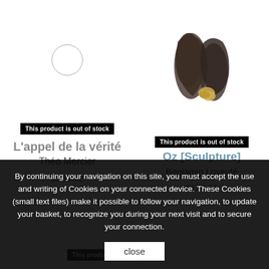[Figure (photo): Left product: small circle outline placeholder image on white background]
This product is out of stock
L'appel de la vérité
Théo Mercier
€568.72
[Figure (photo): Right product: sculpture photo showing dark organic forms with gold detail]
This product is out of stock
Oz [Sculpture]
Benjamin Loyauté
By continuing your navigation on this site, you must accept the use and writing of Cookies on your connected device. These Cookies (small text files) make it possible to follow your navigation, to update your basket, to recognize you during your next visit and to secure your connection.
close
This product is out of stock